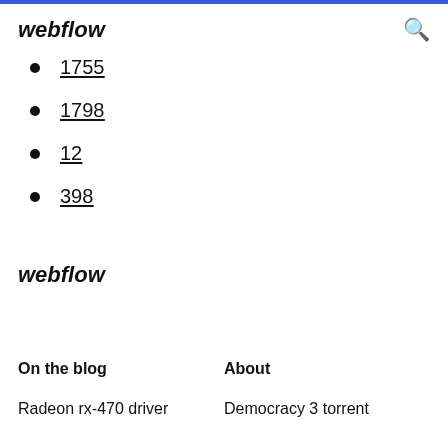webflow
1755
1798
12
398
webflow
On the blog
About
Radeon rx-470 driver
Democracy 3 torrent